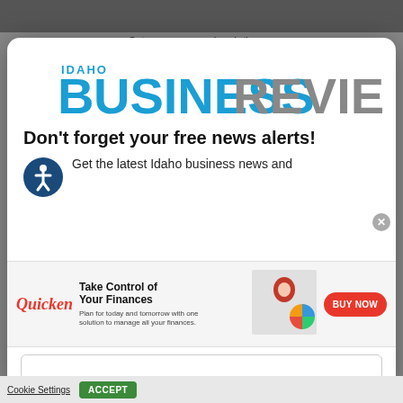[Figure (screenshot): Idaho Business Review website screenshot with modal popup for free news alerts sign-up, and a Quicken advertisement banner overlay]
Set up a group subscription so
[Figure (logo): Idaho Business Review logo — IDAHO in small blue text above large BUSINESS in blue and REVIEW in gray]
Don't forget your free news alerts!
[Figure (illustration): Accessibility icon — circular dark blue badge with person/wheelchair symbol]
Get the latest Idaho business news and
[Figure (infographic): Quicken advertisement: Take Control of Your Finances. Plan for today and tomorrow with one solution to manage all your finances. BUY NOW button.]
SIGN UP FOR FREE
Cookie Settings   ACCEPT